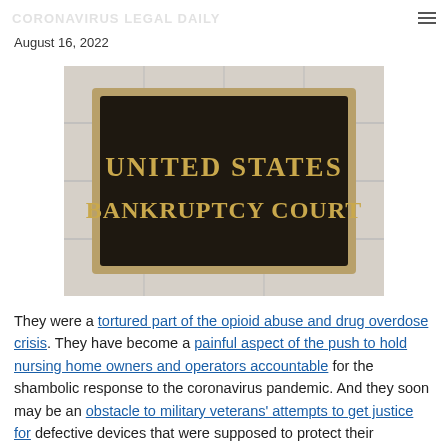CORONAVIRUS LEGAL DAILY
By Patrick A. Malone
August 16, 2022
[Figure (photo): Photo of a United States Bankruptcy Court bronze plaque mounted on a white marble wall. The plaque is dark brown/black with gold lettering reading UNITED STATES BANKRUPTCY COURT, surrounded by a gold border.]
They were a tortured part of the opioid abuse and drug overdose crisis. They have become a painful aspect of the push to hold nursing home owners and operators accountable for the shambolic response to the coronavirus pandemic. And they soon may be an obstacle to military veterans' attempts to get justice for defective devices that were supposed to protect their